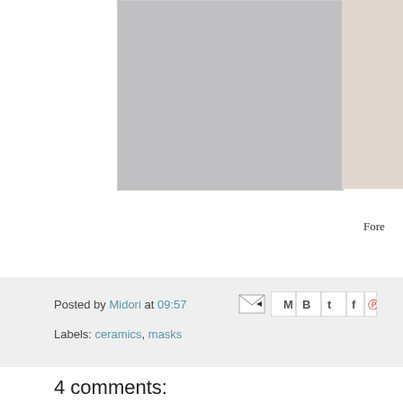[Figure (photo): Partial view of a ceramic or sculptural artwork against a light background, cropped at top of page]
Fore
Posted by Midori at 09:57
Labels: ceramics, masks
4 comments:
N E E D L E P R I N T  18 June 2014 at 23:09